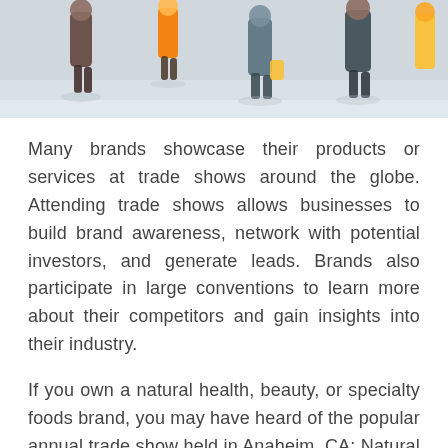[Figure (photo): People walking in a trade show or convention hall, viewed from above or mid-level, showing a crowd of attendees.]
Many brands showcase their products or services at trade shows around the globe. Attending trade shows allows businesses to build brand awareness, network with potential investors, and generate leads. Brands also participate in large conventions to learn more about their competitors and gain insights into their industry.
If you own a natural health, beauty, or specialty foods brand, you may have heard of the popular annual trade show held in Anaheim, CA: Natural Products Expo West. Due to the health and safety concerns of the coronavirus, COVID-19, the expo will be postponed to mid-April, about a month over the original date, on March 3rd.
Whether your company still plans to exhibit products